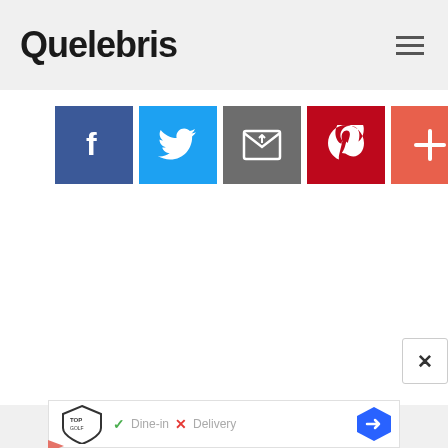Quelebris
[Figure (screenshot): Social sharing buttons: Facebook (blue), Twitter (light blue), Email (gray), Pinterest (red), More/Plus (orange-red)]
[Figure (screenshot): Advertisement bar for TopGolf showing logo, Dine-in with green checkmark, Delivery with red X, and a blue diamond arrow icon. Below are small play and close buttons.]